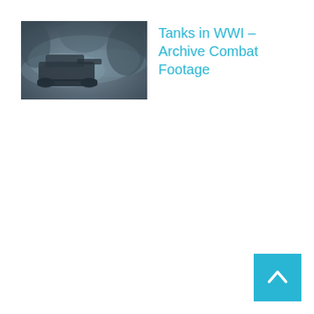[Figure (photo): Thumbnail image of a dark, misty scene showing what appears to be a WWI tank moving through smoky terrain]
Tanks in WWI – Archive Combat Footage
[Figure (other): Blue back-to-top button with upward chevron arrow in bottom-right corner]